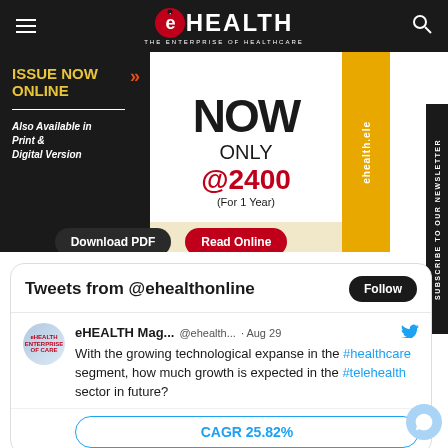eHEALTH — THE ENTERPRISE OF HEALTHCARE
[Figure (infographic): eHealth magazine subscription ad banner: ISSUE NOW ONLINE, Also Available in Print & Digital Version, NOW ONLY @2400 (For 1 Year), Download PDF and Read Online buttons]
Tweets from @ehealthonline
eHEALTH Mag... @ehealth... · Aug 29 — With the growing technological expanse in the #healthcare segment, how much growth is expected in the #telehealth sector in future?
CAGR 25.82%